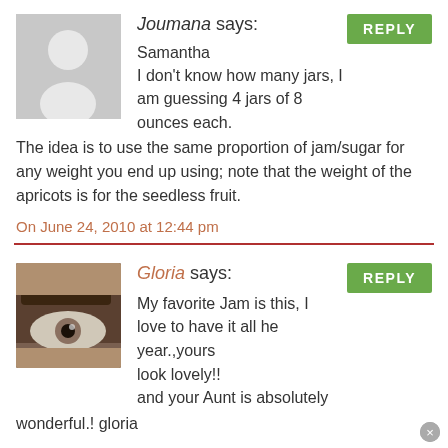Joumana says:
Samantha
I don't know how many jars, I am guessing 4 jars of 8 ounces each. The idea is to use the same proportion of jam/sugar for any weight you end up using; note that the weight of the apricots is for the seedless fruit.
On June 24, 2010 at 12:44 pm
Gloria says:
My favorite Jam is this, I love to have it all he year.,yours look lovely!!
and your Aunt is absolutely wonderful.! gloria